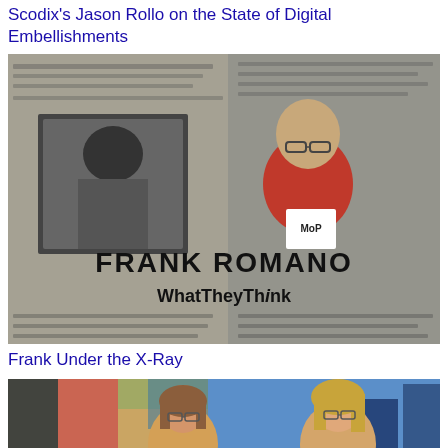Scodix's Jason Rollo on the State of Digital Embellishments
[Figure (photo): Black and white photo/composite showing Frank Romano, an older man in a red t-shirt with MoP logo and WhatTheyThink text overlay, standing in front of a printed document background with the name FRANK ROMANO displayed prominently.]
Frank Under the X-Ray
[Figure (photo): Color photo showing two women with glasses in front of a colorful urban mural/cityscape backdrop with vivid colors.]